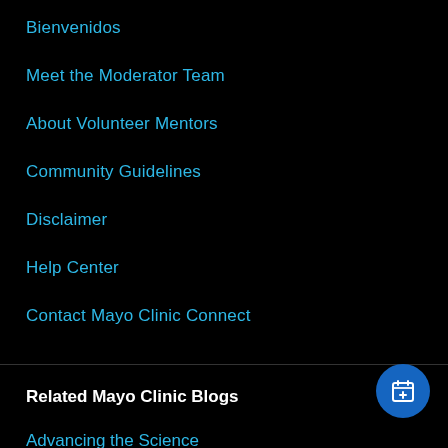Bienvenidos
Meet the Moderator Team
About Volunteer Mentors
Community Guidelines
Disclaimer
Help Center
Contact Mayo Clinic Connect
Related Mayo Clinic Blogs
Advancing the Science
Cancer Center Blog